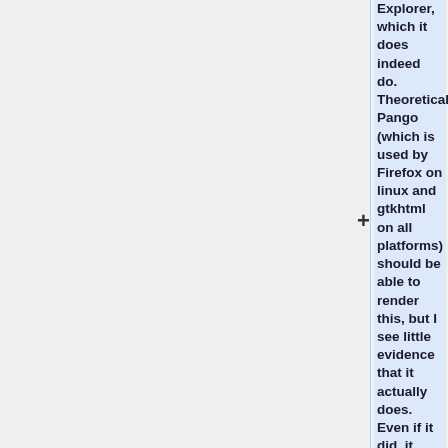Explorer, which it does indeed do. Theoretically Pango (which is used by Firefox on linux and gtkhtml on all platforms) should be able to render this, but I see little evidence that it actually does. Even if it did, it would require a completely manual control (eg, not an html control) for Xiphos to support this. The lack of